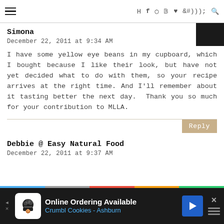≡  𝕏  f  📷  𝗣  ♥  )))  🔍
Simona
December 22, 2011 at 9:34 AM
I have some yellow eye beans in my cupboard, which I bought because I like their look, but have not yet decided what to do with them, so your recipe arrives at the right time. And I'll remember about it tasting better the next day.  Thank you so much for your contribution to MLLA.
Reply
Debbie @ Easy Natural Food
December 22, 2011 at 9:37 AM
[Figure (infographic): Advertisement banner for Crumbl Cookies - Ashburn: Online Ordering Available, with logo, blue arrow icon, and close button]